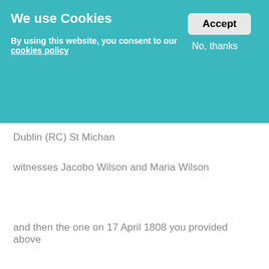We use Cookies
Accept
No, thanks
By using this website, you consent to our cookies policy
Dublin (RC) St Michan
witnesses Jacobo Wilson and Maria Wilson
and then the one on 17 April 1808 you provided above
and the the Surname should probably be Mac